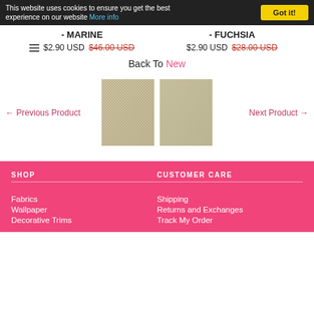This website uses cookies to ensure you get the best experience on our website More info | Got it!
- MARINE
- FUCHSIA
$2.90 USD  $46.00 USD
$2.90 USD  $28.00 USD
Back To New
← Previous Product
[Figure (photo): Two fabric swatches side by side - both showing a woven textile texture in beige/tan tones]
Next Product →
SHOP | CUSTOMER CARE | Fabrics | Shipping | Wallpaper | Returns and Exchanges | Decorative Trims | Track My Order